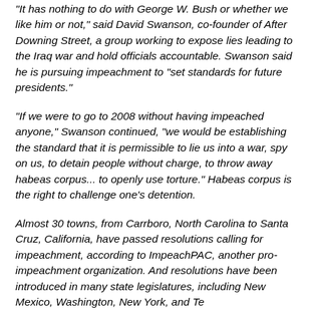"It has nothing to do with George W. Bush or whether we like him or not," said David Swanson, co-founder of After Downing Street, a group working to expose lies leading to the Iraq war and hold officials accountable. Swanson said he is pursuing impeachment to "set standards for future presidents."
"If we were to go to 2008 without having impeached anyone," Swanson continued, "we would be establishing the standard that it is permissible to lie us into a war, spy on us, to detain people without charge, to throw away habeas corpus... to openly use torture." Habeas corpus is the right to challenge one's detention.
Almost 30 towns, from Carrboro, North Carolina to Santa Cruz, California, have passed resolutions calling for impeachment, according to ImpeachPAC, another pro-impeachment organization. And resolutions have been introduced in many state legislatures, including New Mexico, Washington, New York, and Te...